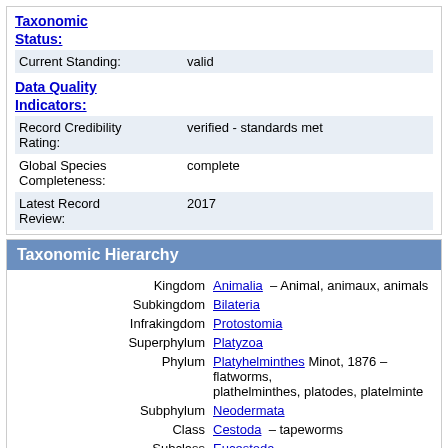Taxonomic Status:
| Current Standing: | valid |
Data Quality Indicators:
| Record Credibility Rating: | verified - standards met |
| Global Species Completeness: | complete |
| Latest Record Review: | 2017 |
Taxonomic Hierarchy
| Rank | Value |
| --- | --- |
| Kingdom | Animalia – Animal, animaux, animals |
| Subkingdom | Bilateria |
| Infrakingdom | Protostomia |
| Superphylum | Platyzoa |
| Phylum | Platyhelminthes Minot, 1876 – flatworms, plathelminthes, platodes, platelminte |
| Subphylum | Neodermata |
| Class | Cestoda – tapeworms |
| Subclass | Eucestoda |
| Order | Rhinebothriidea |
| Family | Echeneibothriidae |
| Genus | Echeneibothrium van Beneden, 1850 |
|  | Direct Children: |
| Species | Echeneibothrium abyssorum Campbell, 1977 |